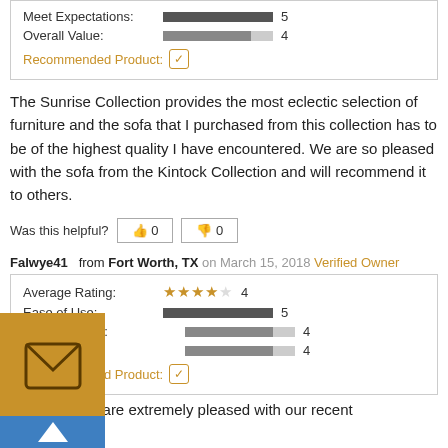| Meet Expectations: | 5 |
| Overall Value: | 4 |
| Recommended Product: | ✓ |
The Sunrise Collection provides the most eclectic selection of furniture and the sofa that I purchased from this collection has to be of the highest quality I have encountered. We are so pleased with the sofa from the Kintock Collection and will recommend it to others.
Was this helpful? 👍 0  👎 0
Falwye41  from Fort Worth, TX  on March 15, 2018  Verified Owner
| Average Rating: | ★★★★☆ | 4 |
| Ease of Use: |  | 5 |
| Meet Expectations: |  | 4 |
| Overall Value: |  | 4 |
| Recommended Product: | ✓ |  |
My wife and I are extremely pleased with our recent